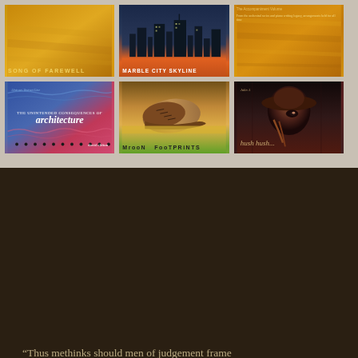[Figure (photo): Grid of 6 album covers: Song of Farewell, Marble City Skyline, unnamed golden album, The Unintended Consequences of Architecture by David Clifton, Mrdon Footprints, and Julie A Hush hush...]
“Thus methinks should men of judgement frame Their means of traffic from the vulgar trade, And, as their wealth increaseth, so enclose Infinite riches in a little room” —Christopher Marlowe, 1564-1593
Copyright © 2022 Little Room Limited
Home | Artists | All Releases | the LR library | Sheet Music | Store | LR TV | News | About | Contact